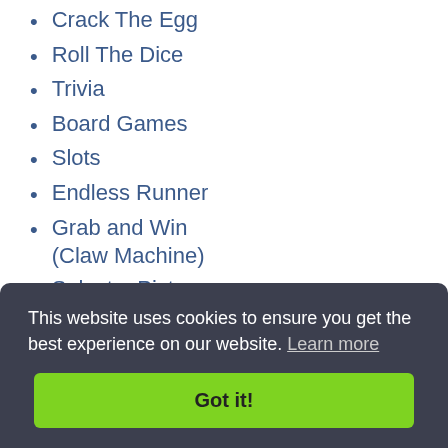Crack The Egg
Roll The Dice
Trivia
Board Games
Slots
Endless Runner
Grab and Win (Claw Machine)
Select a Picture and Win
Memory Match and Win
Scratch and Win
Gamification With Coupon
This website uses cookies to ensure you get the best experience on our website. Learn more
Got it!
All content on this website, excluding any 3rd party